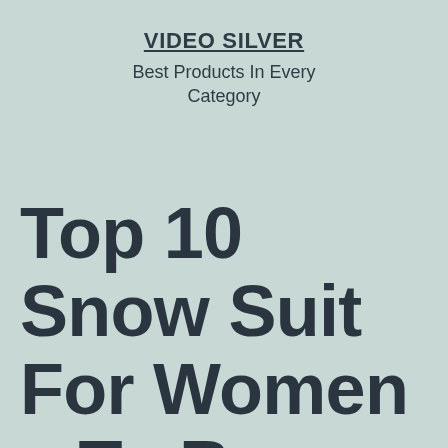VIDEO SILVER
Best Products In Every Category
Top 10 Snow Suit For Women – To Buy Online